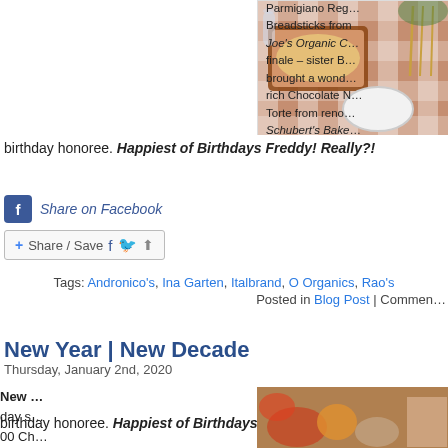[Figure (photo): A table set with a red and white checkered tablecloth, a lasagna dish, plates, glasses, and cutlery.]
Parmigiano Reg… Breadsticks from Joe's Organic C… finale – sister B… brought a wond… rich Chocolate … Torte from reno… Schubert's Bake… A leftover Chan… candle ignited, g… heartfelt wishes…
birthday honoree. Happiest of Birthdays Freddy! Really?!
Share on Facebook
Share / Save
Tags: Andronico's, Ina Garten, Italbrand, O Organics, Rao's
Posted in Blog Post | Commen…
New Year | New Decade
Thursday, January 2nd, 2020
[Figure (photo): A platter of roasted vegetables and meats for New Year.]
New… day s… 00 Ch…